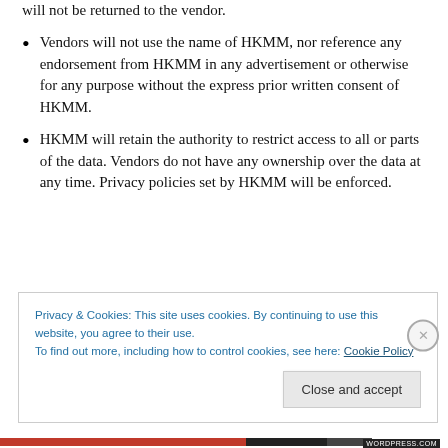will not be returned to the vendor.
Vendors will not use the name of HKMM, nor reference any endorsement from HKMM in any advertisement or otherwise for any purpose without the express prior written consent of HKMM.
HKMM will retain the authority to restrict access to all or parts of the data. Vendors do not have any ownership over the data at any time. Privacy policies set by HKMM will be enforced.
Privacy & Cookies: This site uses cookies. By continuing to use this website, you agree to their use.
To find out more, including how to control cookies, see here: Cookie Policy
Close and accept